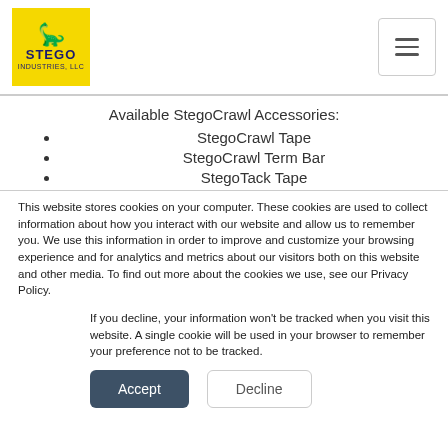[Figure (logo): Stego Industries LLC logo: yellow square background with stegosaurus dinosaur silhouette and STEGO text in dark blue]
Available StegoCrawl Accessories:
StegoCrawl Tape
StegoCrawl Term Bar
StegoTack Tape
This website stores cookies on your computer. These cookies are used to collect information about how you interact with our website and allow us to remember you. We use this information in order to improve and customize your browsing experience and for analytics and metrics about our visitors both on this website and other media. To find out more about the cookies we use, see our Privacy Policy.
If you decline, your information won’t be tracked when you visit this website. A single cookie will be used in your browser to remember your preference not to be tracked.